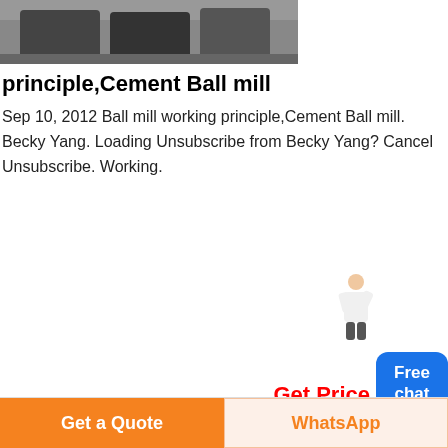[Figure (photo): Partial top view of industrial ball mill machinery in a factory setting, gray tones]
principle,Cement Ball mill
Sep 10, 2012 Ball mill working principle,Cement Ball mill. Becky Yang. Loading Unsubscribe from Becky Yang? Cancel Unsubscribe. Working.
[Figure (photo): Industrial ball mill equipment with large white cylindrical hoppers and piping inside a factory building]
Ball mill working
Get Price
[Figure (other): Free chat button widget with person character]
Get a Quote
WhatsApp